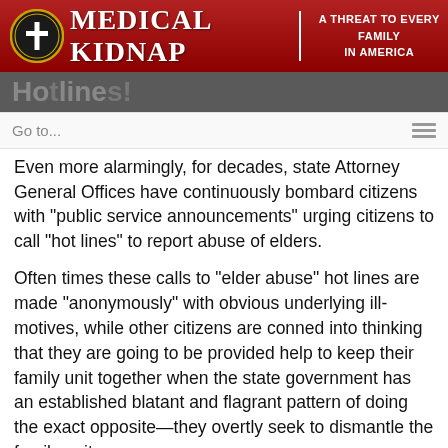Medical Kidnap | A Threat to Every Family in America
Hotlines!
Even more alarmingly, for decades, state Attorney General Offices have continuously bombard citizens with “public service announcements” urging citizens to call “hot lines” to report abuse of elders.
Often times these calls to “elder abuse” hot lines are made “anonymously” with obvious underlying ill-motives, while other citizens are conned into thinking that they are going to be provided help to keep their family unit together when the state government has an established blatant and flagrant pattern of doing the exact opposite—they overtly seek to dismantle the family unit.
Showing the true motives of the offices of the Attorney Generals, they disturbingly blast a narrative that the majority of elder exploitation supposedly occurs by family members. For example, see: Commonwealth of